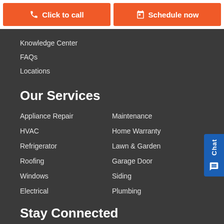Click to call
Schedule now
Knowledge Center
FAQs
Locations
Our Services
Appliance Repair
HVAC
Refrigerator
Roofing
Windows
Electrical
Maintenance
Home Warranty
Lawn & Garden
Garage Door
Siding
Plumbing
Stay Connected
Sign up for deals and tips about all that Sears Home Services...